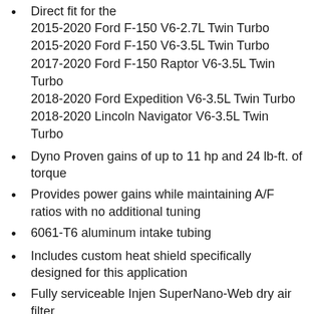Direct fit for the 2015-2020 Ford F-150 V6-2.7L Twin Turbo, 2015-2020 Ford F-150 V6-3.5L Twin Turbo, 2017-2020 Ford F-150 Raptor V6-3.5L Twin Turbo, 2018-2020 Ford Expedition V6-3.5L Twin Turbo, 2018-2020 Lincoln Navigator V6-3.5L Twin Turbo
Dyno Proven gains of up to 11 hp and 24 lb-ft. of torque
Provides power gains while maintaining A/F ratios with no additional tuning
6061-T6 aluminum intake tubing
Includes custom heat shield specifically designed for this application
Fully serviceable Injen SuperNano-Web dry air filter
This intake uses two (2) different air filters per kit.